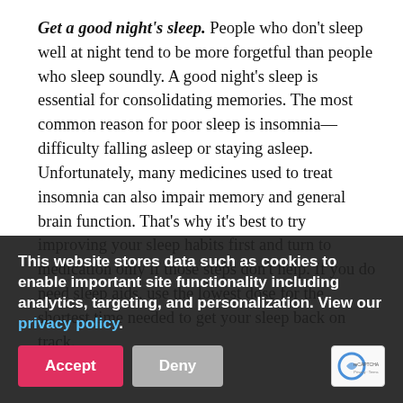Get a good night's sleep. People who don't sleep well at night tend to be more forgetful than people who sleep soundly. A good night's sleep is essential for consolidating memories. The most common reason for poor sleep is insomnia—difficulty falling asleep or staying asleep. Unfortunately, many medicines used to treat insomnia can also impair memory and general brain function. That's why it's best to try improving your sleep habits first and turn to medication only if those steps don't help. If you do need sleep aids, use the lowest dose for the shortest time needed to get your sleep back on track.
If you smoke, cut back... studies and that smokers have a greater degree of age-related memory loss and other memory problems than nonsmokers. People who smoke more than two packs of cigarettes a day...
[Figure (screenshot): Cookie consent banner overlay with dark semi-transparent background, white bold text reading 'This website stores data such as cookies to enable important site functionality including analytics, targeting, and personalization. View our privacy policy.' with pink 'Accept' button and gray 'Deny' button, and reCAPTCHA badge in bottom right.]